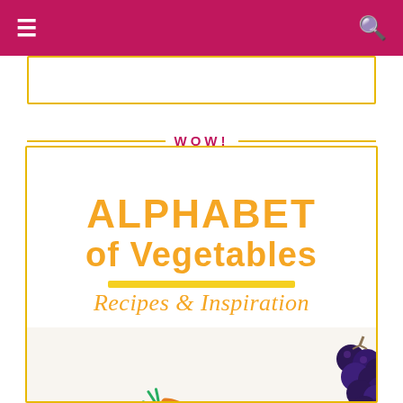Navigation bar with menu and search icons
[Figure (illustration): Book cover image for 'Alphabet of Vegetables: Recipes & Inspiration' with orange bold text, decorative underline, italic subtitle, and a photo of colorful vegetables and fruits including pomegranate, peppers, carrots, corn, grapes, and olives on a white background, with a WOW! label and gold border frame.]